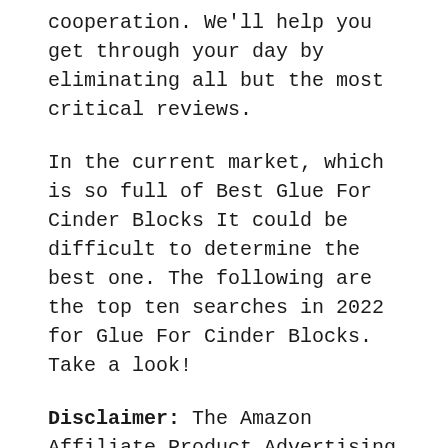cooperation. We'll help you get through your day by eliminating all but the most critical reviews.
In the current market, which is so full of Best Glue For Cinder Blocks It could be difficult to determine the best one. The following are the top ten searches in 2022 for Glue For Cinder Blocks. Take a look!
Disclaimer: The Amazon Affiliate Product Advertising API is used to fetch products from Amazon. This API includes product content, image and logo as well as brand, design, and feature information. These are trademarks of Amazon.com. We may earn an affiliate